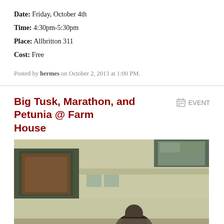Date: Friday, October 4th
Time: 4:30pm-5:30pm
Place: Allbritton 311
Cost: Free
Posted by hermes on October 2, 2013 at 1:00 PM.
Big Tusk, Marathon, and Petunia @ Farm House
[Figure (photo): Outdoor photo of a building exterior with brick/concrete walls, windows, an exit sign reading '3111', and a person partially visible at the bottom]